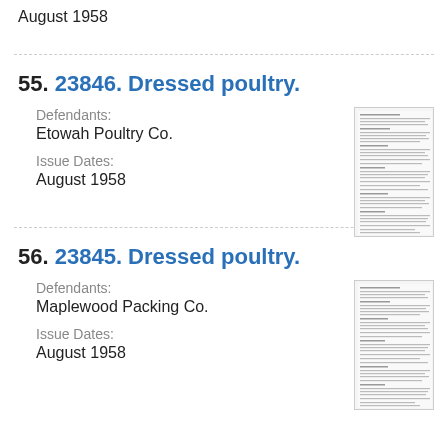August 1958
55. 23846. Dressed poultry.
Defendants:
Etowah Poultry Co.
Issue Dates:
August 1958
[Figure (other): Thumbnail of document page for case 23846]
56. 23845. Dressed poultry.
Defendants:
Maplewood Packing Co.
Issue Dates:
August 1958
[Figure (other): Thumbnail of document page for case 23845]